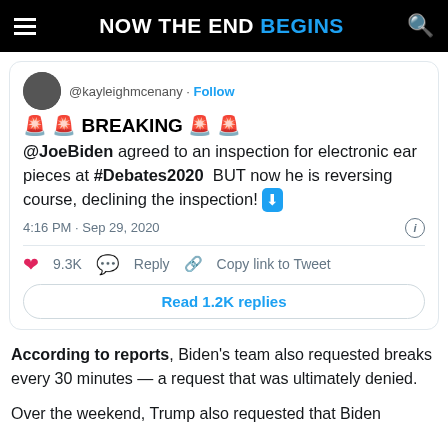NOW THE END BEGINS
[Figure (screenshot): Tweet from @kayleighmcenany with breaking news about @JoeBiden declining electronic ear piece inspection at #Debates2020, posted 4:16 PM Sep 29 2020, with 9.3K likes and Read 1.2K replies button]
According to reports, Biden's team also requested breaks every 30 minutes — a request that was ultimately denied.
Over the weekend, Trump also requested that Biden